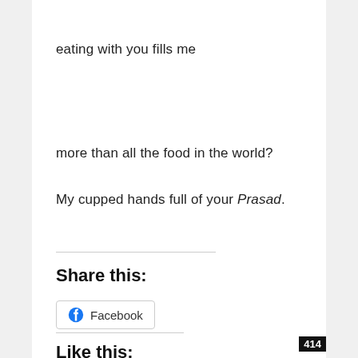eating with you fills me
more than all the food in the world?
My cupped hands full of your Prasad.
Share this:
[Figure (other): Facebook share button with Facebook logo icon]
Like this:
414